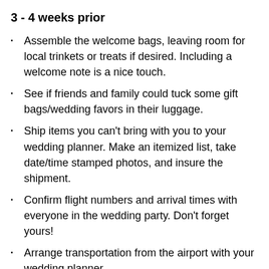3 - 4 weeks prior
Assemble the welcome bags, leaving room for local trinkets or treats if desired. Including a welcome note is a nice touch.
See if friends and family could tuck some gift bags/wedding favors in their luggage.
Ship items you can't bring with you to your wedding planner. Make an itemized list, take date/time stamped photos, and insure the shipment.
Confirm flight numbers and arrival times with everyone in the wedding party. Don't forget yours!
Arrange transportation from the airport with your wedding planner.
Finish your playlist and confirm it with the musicians. Your wedding planner should be able to help with this.
Create a Goho timeline with your wedding planner.